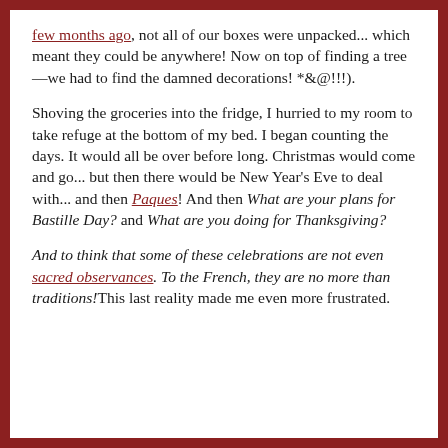few months ago, not all of our boxes were unpacked... which meant they could be anywhere! Now on top of finding a tree—we had to find the damned decorations! *&@!!!).
Shoving the groceries into the fridge, I hurried to my room to take refuge at the bottom of my bed. I began counting the days. It would all be over before long. Christmas would come and go... but then there would be New Year's Eve to deal with... and then Paques! And then What are your plans for Bastille Day? and What are you doing for Thanksgiving?
And to think that some of these celebrations are not even sacred observances. To the French, they are no more than traditions! This last reality made me even more frustrated.